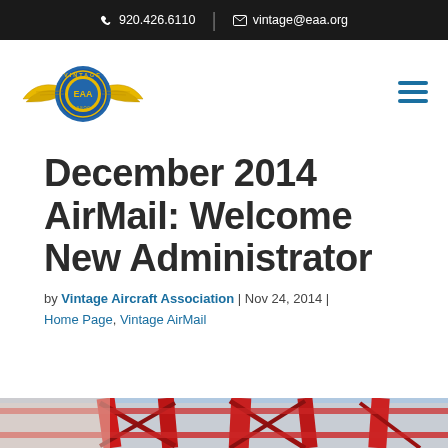920.426.6110 | vintage@eaa.org
[Figure (logo): Vintage Aircraft Association EAA logo with golden wings and circular badge]
December 2014 AirMail: Welcome New Administrator
by Vintage Aircraft Association | Nov 24, 2014 | Home Page, Vintage AirMail
[Figure (photo): Partial view of a red vintage aircraft, showing structural details]